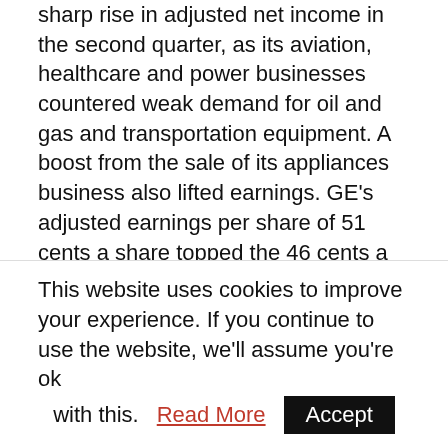sharp rise in adjusted net income in the second quarter, as its aviation, healthcare and power businesses countered weak demand for oil and gas and transportation equipment. A boost from the sale of its appliances business also lifted earnings. GE's adjusted earnings per share of 51 cents a share topped the 46 cents a share analysts expected, according to Thomson Reuters I/B/E/S. The figure included a gain of 20 cents a share from the sale of GE's appliances business to Qingdao Haier, which closed in June. The gain was offset by 9 cents in restructuring costs and other items, GE said.
This website uses cookies to improve your experience. If you continue to use the website, we'll assume you're ok with this. Read More Accept